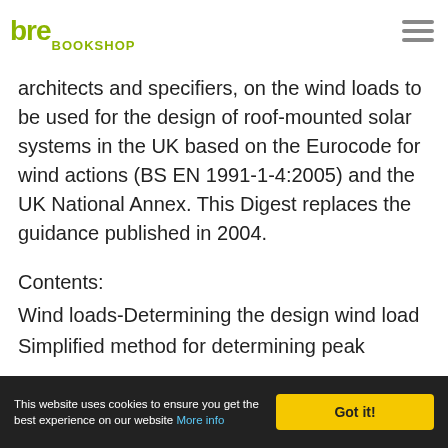BRE BOOKSHOP
designers and manufacturers of such systems, as well as local authorities, architects and specifiers, on the wind loads to be used for the design of roof-mounted solar systems in the UK based on the Eurocode for wind actions (BS EN 1991-1-4:2005) and the UK National Annex. This Digest replaces the guidance published in 2004.
Contents:
Wind loads-Determining the design wind load
Simplified method for determining peak
This website uses cookies to ensure you get the best experience on our website More info